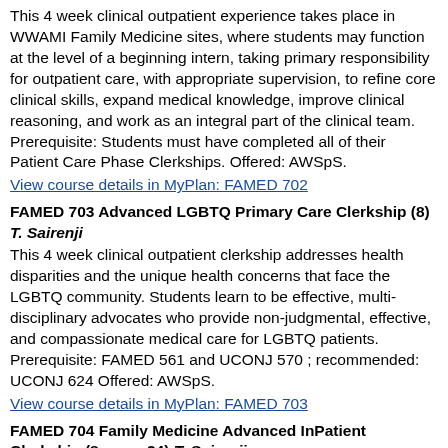This 4 week clinical outpatient experience takes place in WWAMI Family Medicine sites, where students may function at the level of a beginning intern, taking primary responsibility for outpatient care, with appropriate supervision, to refine core clinical skills, expand medical knowledge, improve clinical reasoning, and work as an integral part of the clinical team. Prerequisite: Students must have completed all of their Patient Care Phase Clerkships. Offered: AWSpS.
View course details in MyPlan: FAMED 702
FAMED 703 Advanced LGBTQ Primary Care Clerkship (8) T. Sairenji
This 4 week clinical outpatient clerkship addresses health disparities and the unique health concerns that face the LGBTQ community. Students learn to be effective, multi-disciplinary advocates who provide non-judgmental, effective, and compassionate medical care for LGBTQ patients. Prerequisite: FAMED 561 and UCONJ 570 ; recommended: UCONJ 624 Offered: AWSpS.
View course details in MyPlan: FAMED 703
FAMED 704 Family Medicine Advanced InPatient Clerkship (8, max. 24) T. Sairenji
During this four-week clinical inpatient experience, students may function at the level of a beginning intern, taking primary responsibility mostly in the inpatient setting with appropriate